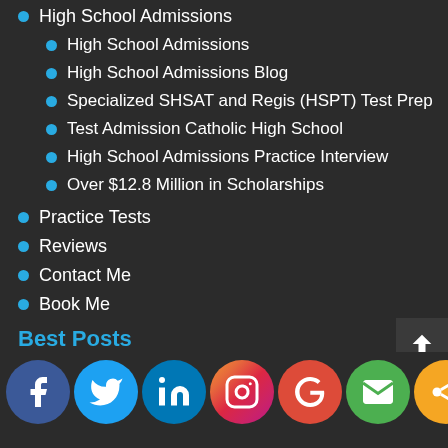High School Admissions
High School Admissions
High School Admissions Blog
Specialized SHSAT and Regis (HSPT) Test Prep
Test Admission Catholic High School
High School Admissions Practice Interview
Over $12.8 Million in Scholarships
Practice Tests
Reviews
Contact Me
Book Me
Best Posts
[Figure (other): Social media sharing icons row: Facebook, Twitter, LinkedIn, Instagram, Google, Email, Share]